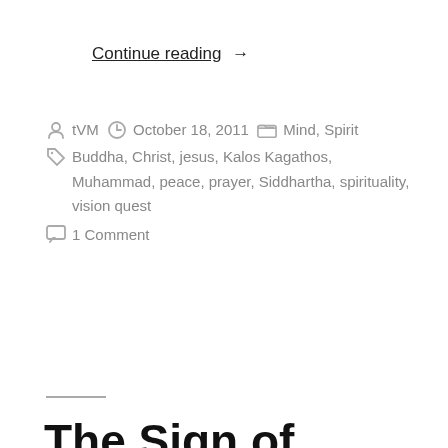Continue reading →
posted by tVM  October 18, 2011  Mind, Spirit  Tags: Buddha, Christ, jesus, Kalos Kagathos, Muhammad, peace, prayer, Siddhartha, spirituality, vision quest  1 Comment
The Sign of Peace